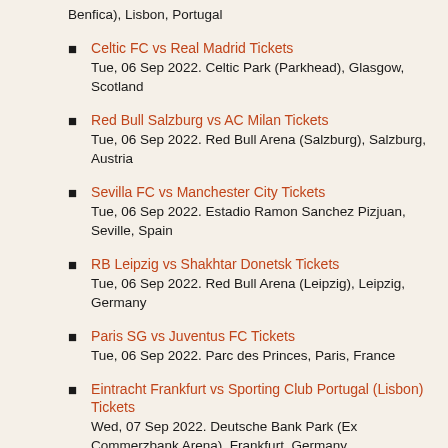Benfica), Lisbon, Portugal
Celtic FC vs Real Madrid Tickets
Tue, 06 Sep 2022. Celtic Park (Parkhead), Glasgow, Scotland
Red Bull Salzburg vs AC Milan Tickets
Tue, 06 Sep 2022. Red Bull Arena (Salzburg), Salzburg, Austria
Sevilla FC vs Manchester City Tickets
Tue, 06 Sep 2022. Estadio Ramon Sanchez Pizjuan, Seville, Spain
RB Leipzig vs Shakhtar Donetsk Tickets
Tue, 06 Sep 2022. Red Bull Arena (Leipzig), Leipzig, Germany
Paris SG vs Juventus FC Tickets
Tue, 06 Sep 2022. Parc des Princes, Paris, France
Eintracht Frankfurt vs Sporting Club Portugal (Lisbon) Tickets
Wed, 07 Sep 2022. Deutsche Bank Park (Ex Commerzbank Arena), Frankfurt, Germany
AFC Ajax vs Rangers FC Tickets
Wed, 07 Sep 2022. Johan Cruyff Arena, Amsterdam, Netherlands
Tottenham Hotspur vs Olympique de Marseille ( OM ) Tickets
Wed, 07 Sep 2022. Tottenham Hotspur Stadium, London, England